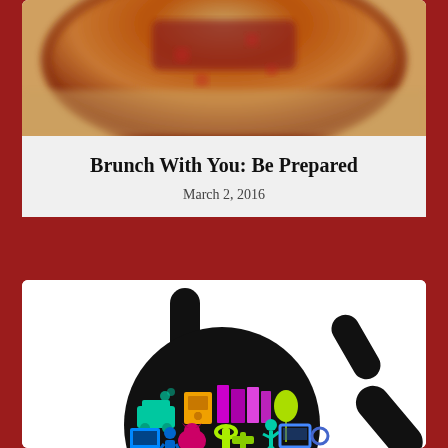[Figure (photo): Top portion of a pizza with red text/logo visible on the crust, blurred/cropped]
Brunch With You: Be Prepared
March 2, 2016
[Figure (illustration): Colorful circular illustration on black background showing various hobby/activity icons (train, books, tools, computer, figures), with black pill/capsule shapes scattered around it suggesting motion or explosion]